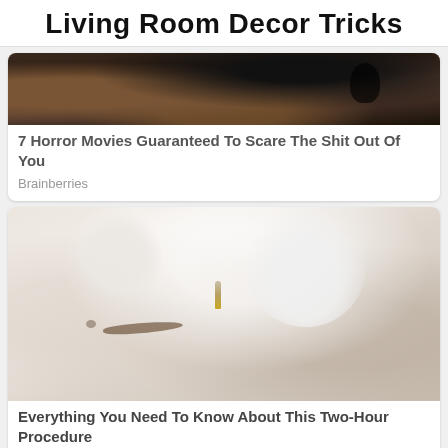Living Room Decor Tricks
[Figure (photo): Dark image showing a tattoo gun or similar device being used, partial view cropped at top]
7 Horror Movies Guaranteed To Scare The Shit Out Of You
Brainberries
[Figure (photo): Close-up of gloved hands performing an eyebrow microblading or tattoo procedure near the eyebrow area]
Everything You Need To Know About This Two-Hour Procedure
Herbeauty
✕ CLOSE